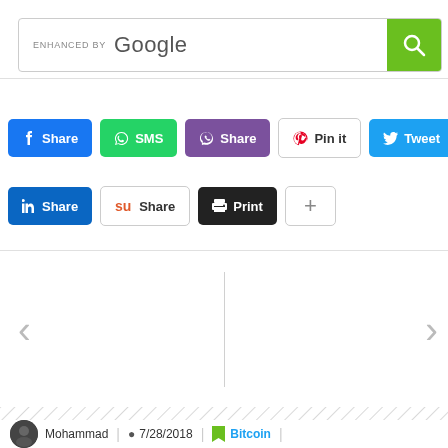[Figure (screenshot): Google Enhanced Search bar with search icon button on the right]
[Figure (screenshot): Social share buttons row 1: Facebook Share, WhatsApp SMS, Viber Share, Pinterest Pin it, Twitter Tweet]
[Figure (screenshot): Social share buttons row 2: LinkedIn Share, StumbleUpon Share, Print, More (+)]
[Figure (screenshot): Navigation section with left and right arrows and vertical divider]
Mohammad  /  7/28/2018  /  Bitcoin